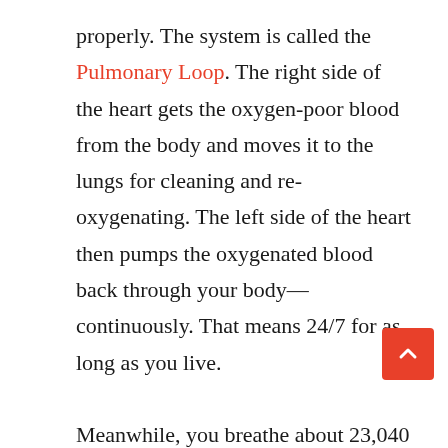properly. The system is called the Pulmonary Loop. The right side of the heart gets the oxygen-poor blood from the body and moves it to the lungs for cleaning and re-oxygenating. The left side of the heart then pumps the oxygenated blood back through your body—continuously. That means 24/7 for as long as you live.

Meanwhile, you breathe about 23,040 times each day. Your heart beats about 100,000 times each day, or about 35 million times each year. It pumps 1.5 gallons of blood every minute or over 2,000 gallons each day. That blood travels through the 60,000 miles of blood vessels in your body—enough to go around the world twice! Your amazing heart and lungs deserve the best care possible. Start with a healthy 100 Year Lifestyle diet, and